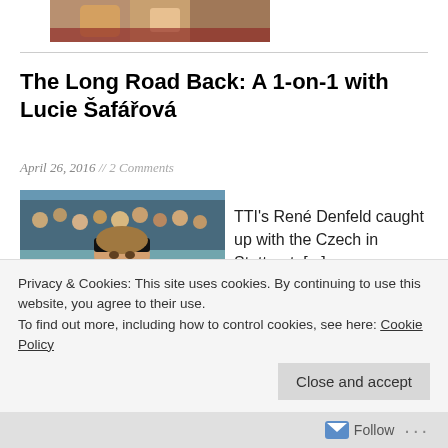[Figure (photo): Partially visible cropped photo at top of page, showing people in casual/sports attire]
The Long Road Back: A 1-on-1 with Lucie Šafářová
April 26, 2016 // 2 Comments
[Figure (photo): Lucie Šafářová playing tennis, wearing black outfit with Nike headband, hitting a shot]
TTI's René Denfeld caught up with the Czech in Stuttgart. [...]
Privacy & Cookies: This site uses cookies. By continuing to use this website, you agree to their use.
To find out more, including how to control cookies, see here: Cookie Policy
Close and accept
Follow